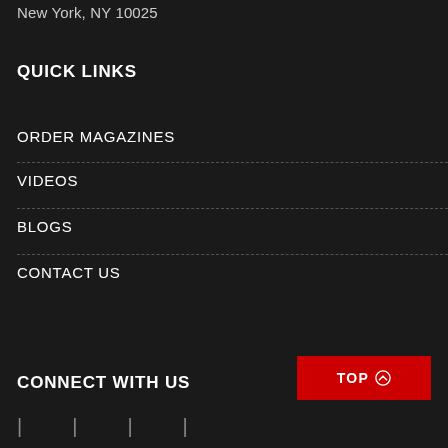New York, NY 10025
QUICK LINKS
ORDER MAGAZINES
VIDEOS
BLOGS
CONTACT US
CONNECT WITH US
TOP ➔